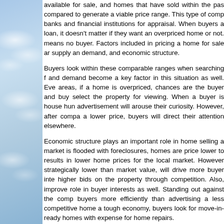[Figure (illustration): Blue sky with white clouds background image on the left side of the page]
available for sale, and homes that have sold within the past compared to generate a viable price range. This type of comp banks and financial institutions for appraisal. When buyers a loan, it doesn't matter if they want an overpriced home or not. means no buyer. Factors included in pricing a home for sale ar supply an demand, and economic structure.
Buyers look within these comparable ranges when searching f and demand become a key factor in this situation as well. Eve areas, if a home is overpriced, chances are the buyer and buy select the property for viewing. When a buyer is house hun advertisement will arouse their curiosity. However, after compa a lower price, buyers will direct their attention elsewhere.
Economic structure plays an important role in home selling a market is flooded with foreclosures, homes are price lower to results in lower home prices for the local market. However strategically lower than market value, will drive more buyer inte higher bids on the property through competition. Also, improve role in buyer interests as well. Standing out against the comp buyers more efficiently than advertising a less competitive home a tough economy, buyers look for move-in-ready homes with expense for home repairs.
Overpricing a home generally stigmatizes it, causing the home market for long periods of time. This can send a red flag to potential problems with the home/property, giving a negative